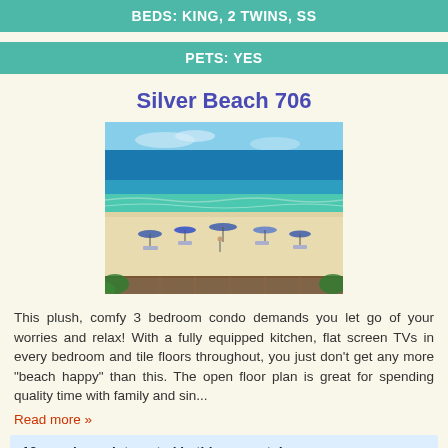BEDS: KING, 2 TWINS, SS
PETS: YES
Silver Beach 706
[Figure (photo): Aerial view of a beach with blue-green ocean water, white sand, and beach umbrellas/chairs, viewed from a balcony railing]
This plush, comfy 3 bedroom condo demands you let go of your worries and relax! With a fully equipped kitchen, flat screen TVs in every bedroom and tile floors throughout, you just don't get any more "beach happy" than this. The open floor plan is great for spending quality time with family and sin...
Read more »
13 people are interested in this property!